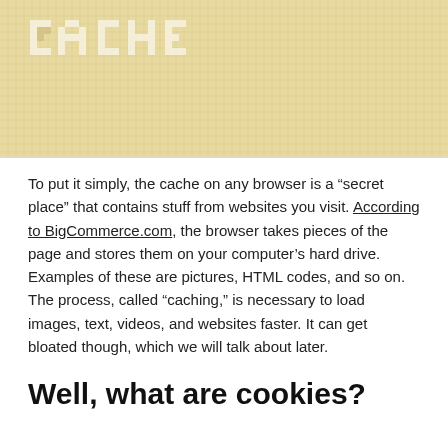[Figure (photo): Close-up of a pixelated/mosaic style image showing the word 'cache' rendered in white pixel-block letters on a cream/tan colored mosaic tile background]
To put it simply, the cache on any browser is a “secret place” that contains stuff from websites you visit. According to BigCommerce.com, the browser takes pieces of the page and stores them on your computer’s hard drive. Examples of these are pictures, HTML codes, and so on. The process, called “caching,” is necessary to load images, text, videos, and websites faster. It can get bloated though, which we will talk about later.
Well, what are cookies?